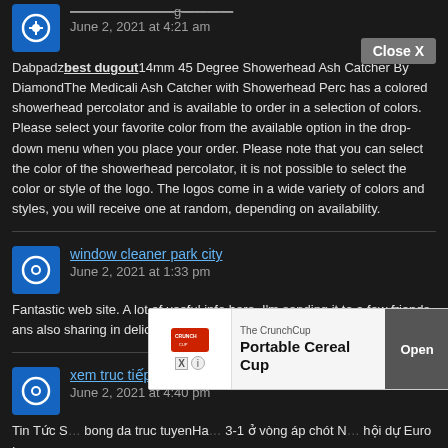June 2, 2021 at 4:21 am
Dabpadzbest dugout14mm 45 Degree Showerhead Ash Catcher By DiamondThe Medicali Ash Catcher with Showerhead Perc has a colored showerhead percolator and is available to order in a selection of colors. Please select your favorite color from the available option in the drop-down menu when you place your order. Please note that you can select the color of the showerhead percolator, it is not possible to select the color or style of the logo. The logos come in a wide variety of colors and styles, you will receive one at random, depending on availability.
window cleaner park city
June 2, 2021 at 1:33 pm
Fantastic web site. A lot of useful info here. I'm sending it to a few friends ans also sharing in delicious. And certainly, thanks for your effort!
xem truc tiếp bong da
June 2, 2021 at 4:40 pm
Tin Tức S... bong da truc tuyen Ha... 3-1 ở vòng áp chót N... hội dự Euro L...
[Figure (screenshot): Advertisement overlay for The CrunchCup Portable Cereal Cup with Open button and Close X button]